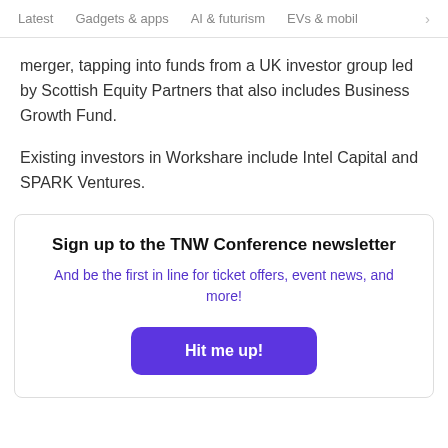Latest   Gadgets & apps   AI & futurism   EVs & mobil  >
merger, tapping into funds from a UK investor group led by Scottish Equity Partners that also includes Business Growth Fund.
Existing investors in Workshare include Intel Capital and SPARK Ventures.
Sign up to the TNW Conference newsletter
And be the first in line for ticket offers, event news, and more!
Hit me up!